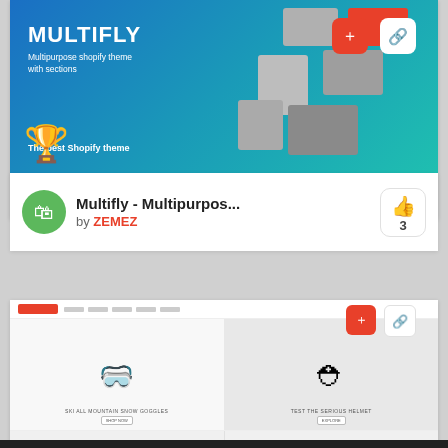[Figure (screenshot): Multifly multipurpose Shopify theme banner with trophy icon, colorful product collage tiles, and two icon buttons (red folder and white chain link)]
LIVE DEMO
DETAILS
Multifly - Multipurpos...
by ZEMEZ
3
[Figure (screenshot): E-commerce theme preview showing ski goggles and bicycle helmet products, with red folder and white chain link icon buttons overlay]
LIVE DEMO
DETAILS